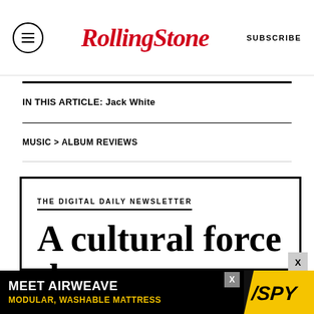Rolling Stone — SUBSCRIBE
IN THIS ARTICLE: Jack White
MUSIC > ALBUM REVIEWS
THE DIGITAL DAILY NEWSLETTER
A cultural force that
[Figure (other): Advertisement banner: MEET AIRWEAVE / MODULAR, WASHABLE MATTRESS with SPY logo on yellow background]